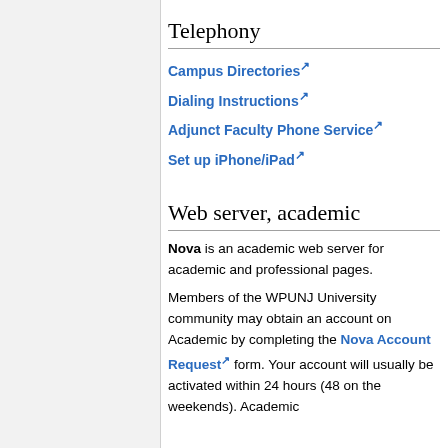Telephony
Campus Directories
Dialing Instructions
Adjunct Faculty Phone Service
Set up iPhone/iPad
Web server, academic
Nova is an academic web server for academic and professional pages.
Members of the WPUNJ University community may obtain an account on Academic by completing the Nova Account Request form. Your account will usually be activated within 24 hours (48 on the weekends). Academic